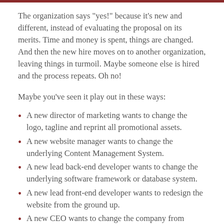The organization says "yes!" because it's new and different, instead of evaluating the proposal on its merits. Time and money is spent, things are changed. And then the new hire moves on to another organization, leaving things in turmoil. Maybe someone else is hired and the process repeats. Oh no!
Maybe you've seen it play out in these ways:
A new director of marketing wants to change the logo, tagline and reprint all promotional assets.
A new website manager wants to change the underlying Content Management System.
A new lead back-end developer wants to change the underlying software framework or database system.
A new lead front-end developer wants to redesign the website from the ground up.
A new CEO wants to change the company from distributed to centralized, or vice versa.